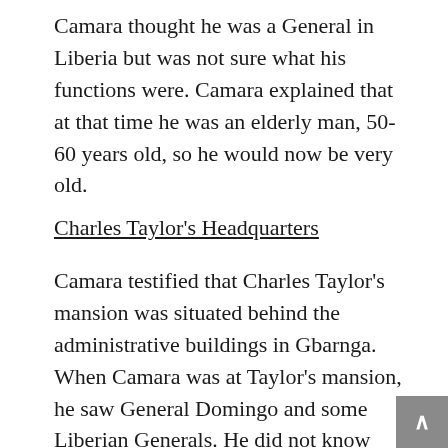Camara thought he was a General in Liberia but was not sure what his functions were. Camara explained that at that time he was an elderly man, 50-60 years old, so he would now be very old.
Charles Taylor's Headquarters
Camara testified that Charles Taylor's mansion was situated behind the administrative buildings in Gbarnga. When Camara was at Taylor's mansion, he saw General Domingo and some Liberian Generals. He did not know their names at the time but came to know them later as Momoh Gibba, Cassius Jacobs, General Yetim [sic] and another man called Moses Blah who was a member of Charles